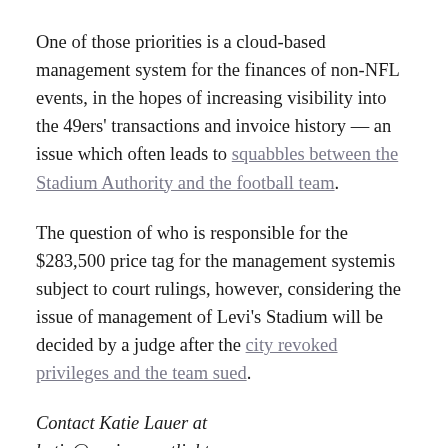One of those priorities is a cloud-based management system for the finances of non-NFL events, in the hopes of increasing visibility into the 49ers' transactions and invoice history — an issue which often leads to squabbles between the Stadium Authority and the football team.
The question of who is responsible for the $283,500 price tag for the management systemis subject to court rulings, however, considering the issue of management of Levi's Stadium will be decided by a judge after the city revoked privileges and the team sued.
Contact Katie Lauer at katie@sanjosespotlight.com or